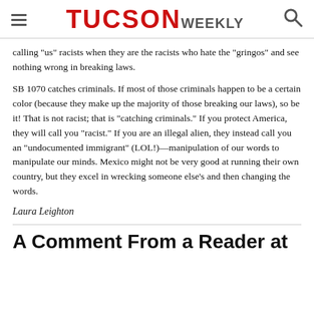TUCSON WEEKLY
calling "us" racists when they are the racists who hate the "gringos" and see nothing wrong in breaking laws.
SB 1070 catches criminals. If most of those criminals happen to be a certain color (because they make up the majority of those breaking our laws), so be it! That is not racist; that is "catching criminals." If you protect America, they will call you "racist." If you are an illegal alien, they instead call you an "undocumented immigrant" (LOL!)—manipulation of our words to manipulate our minds. Mexico might not be very good at running their own country, but they excel in wrecking someone else's and then changing the words.
Laura Leighton
A Comment From a Reader at